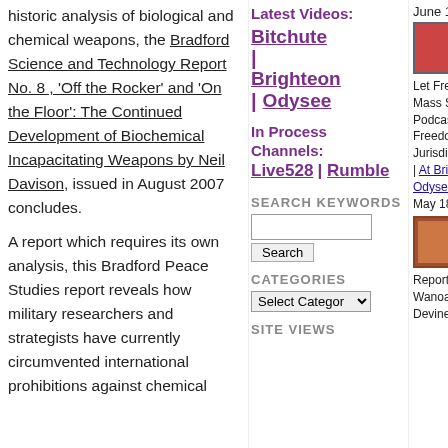historic analysis of biological and chemical weapons, the Bradford Science and Technology Report No. 8, 'Off the Rocker' and 'On the Floor': The Continued Development of Biochemical Incapacitating Weapons by Neil Davison, issued in August 2007 concludes.
A report which requires its own analysis, this Bradford Peace Studies report reveals how military researchers and strategists have currently circumvented international prohibitions against chemical
Latest Videos: Bitchute | Brighteon | Odysee
In Process Channels: Live528 | Rumble
SEARCH KEYWORDS
CATEGORIES
SITE VIEWS
June 1, 2022
[Figure (photo): Thumbnail image for a video about Let Freedom Ring Mass State Assembly Podcast]
Let Freedom Ring! Mass State Assembly Podcast 6: Medical Freedom on Land & Soil Jurisdiction | At Bitchute | At Brighteon | At Odysee | At Rumble | May 18, 2022
[Figure (photo): Thumbnail image for Report 285 John Wanoa and Andrew Devine on Sovereignty]
Report 285 | John: Wanoa and Andrew: Devine on Sovereignty